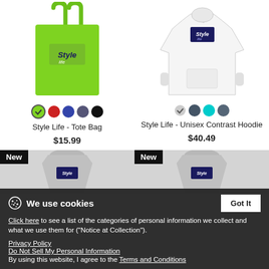[Figure (photo): Green tote bag with Style Life logo]
[Figure (photo): White unisex hoodie with Style Life logo]
Style Life - Tote Bag
$15.99
Style Life - Unisex Contrast Hoodie
$40.49
[Figure (photo): New - partial t-shirt image left column]
[Figure (photo): New - partial t-shirt image right column]
We use cookies
Click here to see a list of the categories of personal information we collect and what we use them for ("Notice at Collection").
Privacy Policy
Do Not Sell My Personal Information
By using this website, I agree to the Terms and Conditions